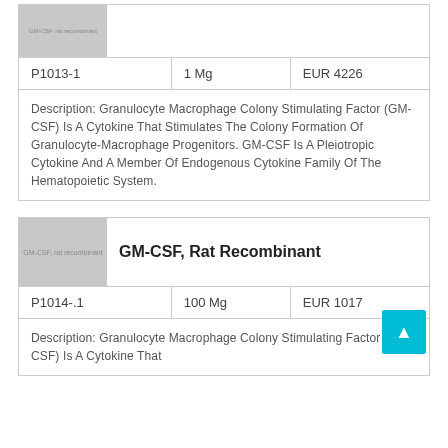[Figure (photo): Partial product image placeholder (grey box) with text 'GM-CSF, rat recombinant']
| P1013-1 | 1 Mg | EUR 4226 |
| --- | --- | --- |
Description: Granulocyte Macrophage Colony Stimulating Factor (GM-CSF) Is A Cytokine That Stimulates The Colony Formation Of Granulocyte-Macrophage Progenitors. GM-CSF Is A Pleiotropic Cytokine And A Member Of Endogenous Cytokine Family Of The Hematopoietic System.
GM-CSF, Rat Recombinant
[Figure (photo): Product image placeholder (grey box) with text 'GM-CSF, rat recombinant']
| P1014-.1 | 100 Mg | EUR 1017 |
| --- | --- | --- |
Description: Granulocyte Macrophage Colony Stimulating Factor (GM-CSF) Is A Cytokine That